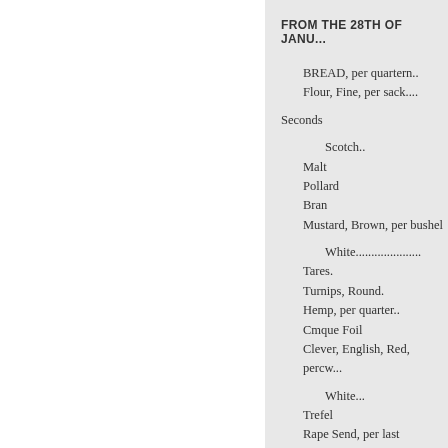FROM THE 28TH OF JANU...
BREAD, per quartern..
Flour, Fine, per sack....
Seconds
Scotch..
Malt
Pollard
Bran
Mustard, Brown, per bushel
White......................
Tares.
Turnips, Round.
Hemp, per quarter..
Cmque Foil
Clever, English, Red, percw...
White...
Trefel
Rape Send, per last
Linsced Cakes, per 1000